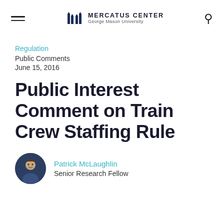Mercatus Center George Mason University
Regulation
Public Comments
June 15, 2016
Public Interest Comment on Train Crew Staffing Rule
Patrick McLaughlin
Senior Research Fellow